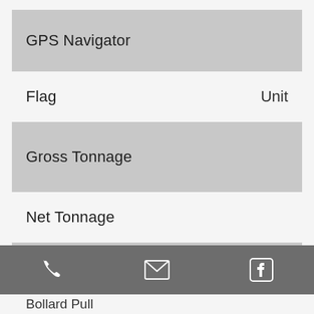GPS Navigator
Flag	Unit
Gross Tonnage
Net Tonnage
Potable Water	5,0
Official Number	6
Bollard Pull